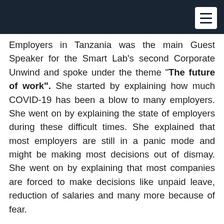[navigation header bar with menu icon]
Employers in Tanzania was the main Guest Speaker for the Smart Lab's second Corporate Unwind and spoke under the theme "The future of work". She started by explaining how much COVID-19 has been a blow to many employers. She went on by explaining the state of employers during these difficult times. She explained that most employers are still in a panic mode and might be making most decisions out of dismay. She went on by explaining that most companies are forced to make decisions like unpaid leave, reduction of salaries and many more because of fear.
Jayne Nyimbo explained repeatedly the nature of remote working. Most employers have never trained their employees to use tools that they suddenly have to – because of a fraction of employers. But also...